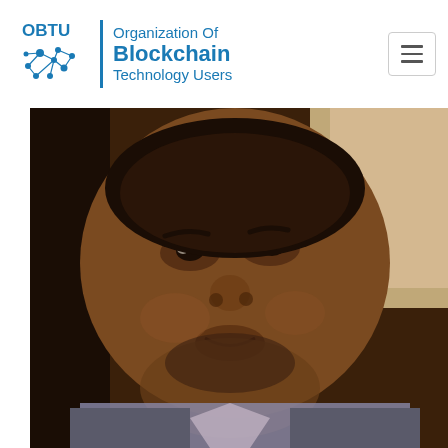[Figure (logo): OBTU Organization Of Blockchain Technology Users logo with network/blockchain icon on left, vertical divider, and text on right]
[Figure (photo): Close-up headshot portrait of a Black man wearing a grey suit jacket and checked shirt, looking directly at camera]